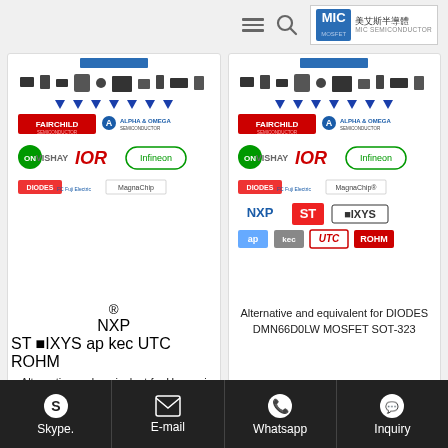MIC SEMICONDUCTOR — 美艾斯半導體
[Figure (infographic): Product card showing semiconductor brand logos with arrows, for Alternative and equivalent for Hmsemi HM75N80 MOSFET TO-220]
Alternative and equivalent for Hmsemi HM75N80 MOSFET TO-220
[Figure (infographic): Product card showing semiconductor brand logos with arrows, for Alternative and equivalent for DIODES DMN66D0LW MOSFET SOT-323]
Alternative and equivalent for DIODES DMN66D0LW MOSFET SOT-323
[Figure (logo): MIC MOSFET logo on bottom card left]
[Figure (logo): MIC MOSFET logo on bottom card right]
Skype.   E-mail   Whatsapp   Inquiry